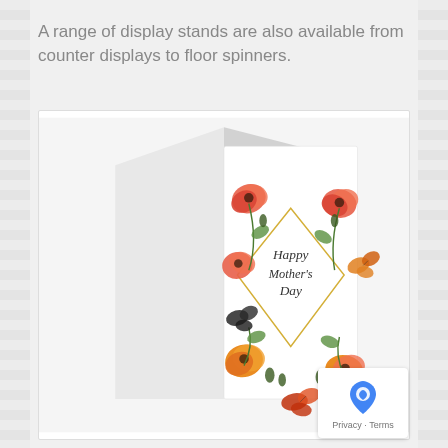A range of display stands are also available from counter displays to floor spinners.
[Figure (photo): A greeting card shown open/standing, featuring a floral design with poppies and butterflies surrounding a gold geometric diamond shape. Inside the diamond shape is cursive text reading 'Happy Mother's Day'.]